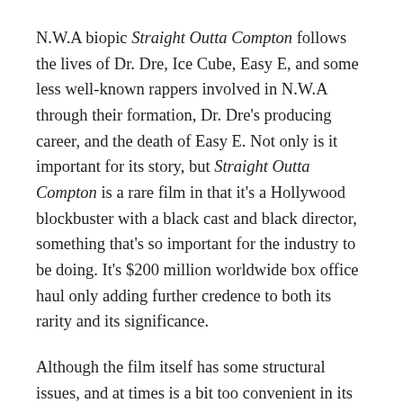N.W.A biopic Straight Outta Compton follows the lives of Dr. Dre, Ice Cube, Easy E, and some less well-known rappers involved in N.W.A through their formation, Dr. Dre's producing career, and the death of Easy E. Not only is it important for its story, but Straight Outta Compton is a rare film in that it's a Hollywood blockbuster with a black cast and black director, something that's so important for the industry to be doing. It's $200 million worldwide box office haul only adding further credence to both its rarity and its significance.
Although the film itself has some structural issues, and at times is a bit too convenient in its storyline and clichéd, it is one of the most important films for showing the history of N.W.A, a group who influenced so many talented and popular artists today like Kendrick Lamar and Wiz Khalifa. Their music gave a voice to those who were ignored and not listened to, and that's as crucial for BAME's today as it was then.